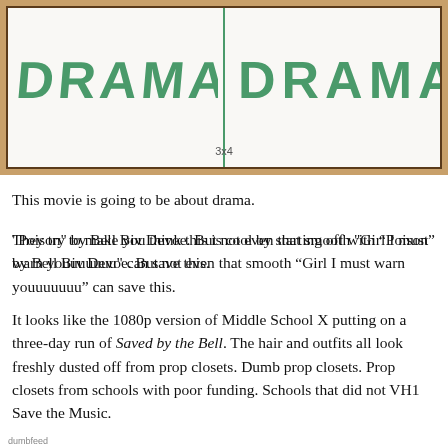[Figure (photo): A photo of a whiteboard or paper with handwritten text 'DRAMA | DRAMA' written twice in green marker, with a vertical line dividing the two words. There is a small '3x4' notation near the bottom center.]
This movie is going to be about drama.
They try to make you think this is cool by starting off with “Poison” by Bell Biv Devoe. But not even that smooth “Girl I must warn youuuuuuu” can save this.
It looks like the 1080p version of Middle School X putting on a three-day run of Saved by the Bell. The hair and outfits all look freshly dusted off from prop closets. Dumb prop closets. Prop closets from schools with poor funding. Schools that did not VH1 Save the Music.
dumbfeed